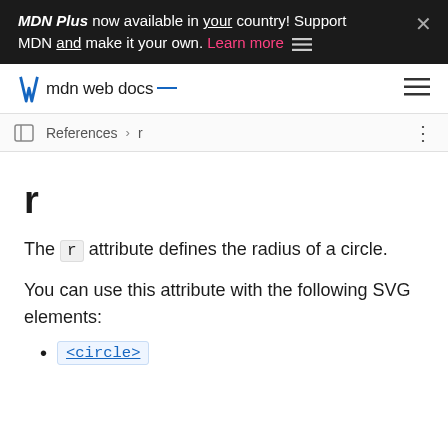MDN Plus now available in your country! Support MDN and make it your own. Learn more
mdn web docs
References > r
r
The r attribute defines the radius of a circle.
You can use this attribute with the following SVG elements:
<circle>